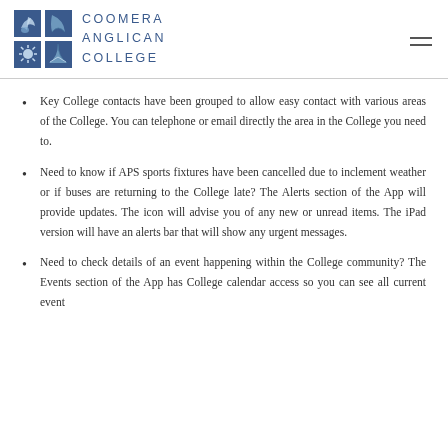COOMERA ANGLICAN COLLEGE
Key College contacts have been grouped to allow easy contact with various areas of the College.  You can telephone or email directly the area in the College you need to.
Need to know if APS sports fixtures have been cancelled due to inclement weather or if buses are returning to the College late?  The Alerts section of the App will provide updates.  The icon will advise you of any new or unread items.  The iPad version will have an alerts bar that will show any urgent messages.
Need to check details of an event happening within the College community? The Events section of the App has College calendar access so you can see all current event